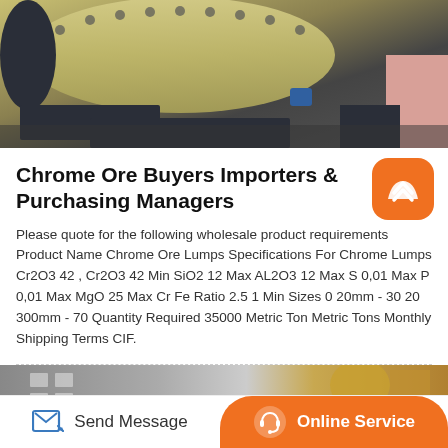[Figure (photo): Industrial machinery photo showing a large yellow ball mill or drum grinder with dark metal supports and a pink/copper block in the background corner]
Chrome Ore Buyers Importers & Purchasing Managers
Please quote for the following wholesale product requirements Product Name Chrome Ore Lumps Specifications For Chrome Lumps Cr2O3 42 , Cr2O3 42 Min SiO2 12 Max AL2O3 12 Max S 0,01 Max P 0,01 Max MgO 25 Max Cr Fe Ratio 2.5 1 Min Sizes 0 20mm - 30 20 300mm - 70 Quantity Required 35000 Metric Ton Metric Tons Monthly Shipping Terms CIF.
[Figure (photo): Industrial building exterior with yellow mechanical equipment visible on the right side]
[Figure (infographic): Footer bar with Send Message button on left and orange Online Service button on right]